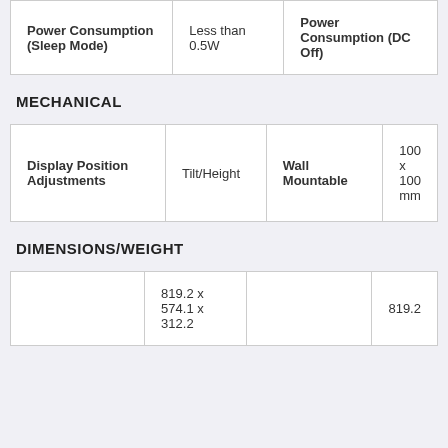| Power Consumption (Sleep Mode) |  | Power Consumption (DC Off) |  |
| --- | --- | --- | --- |
| Power Consumption (Sleep Mode) | Less than 0.5W | Power Consumption (DC Off) |  |
MECHANICAL
| Display Position Adjustments | Wall Mountable |  |  |
| --- | --- | --- | --- |
| Display Position Adjustments | Tilt/Height | Wall Mountable | 100 x 100 mm |
DIMENSIONS/WEIGHT
|  |  |  | 819.2 |
| --- | --- | --- | --- |
|  | 819.2 x 574.1 x 312.2 |  | 819.2 |